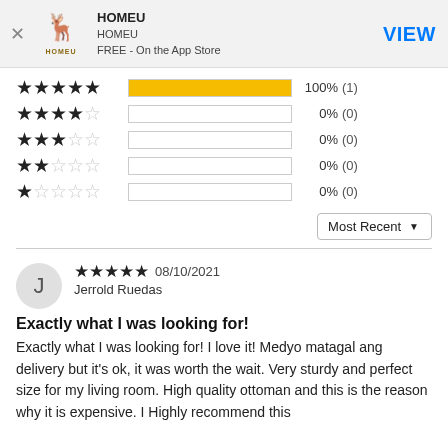[Figure (logo): HOMEU app banner with deer logo, app name HOMEU, subtitle HOMEU, FREE - On the App Store, and VIEW button]
[Figure (infographic): Rating distribution bars: 5-star 100% (1), 4-star 0% (0), 3-star 0% (0), 2-star 0% (0), 1-star 0% (0)]
Most Recent ▼
★★★★★ 08/10/2021 Jerrold Ruedas
Exactly what I was looking for!
Exactly what I was looking for! I love it! Medyo matagal ang delivery but it's ok, it was worth the wait. Very sturdy and perfect size for my living room. High quality ottoman and this is the reason why it is expensive. I Highly recommend this